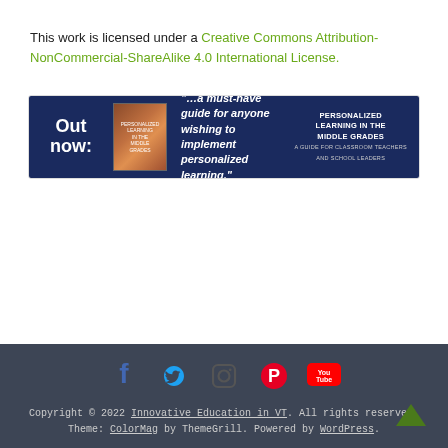This work is licensed under a Creative Commons Attribution-NonCommercial-ShareAlike 4.0 International License.
[Figure (illustration): Banner advertisement for a book titled 'Personalized Learning in the Middle Grades'. Shows 'Out now:' text, book cover image, a quote saying '...a must-have guide for anyone wishing to implement personalized learning.' and the book title on the right.]
Copyright © 2022 Innovative Education in VT. All rights reserved. Theme: ColorMag by ThemeGrill. Powered by WordPress.